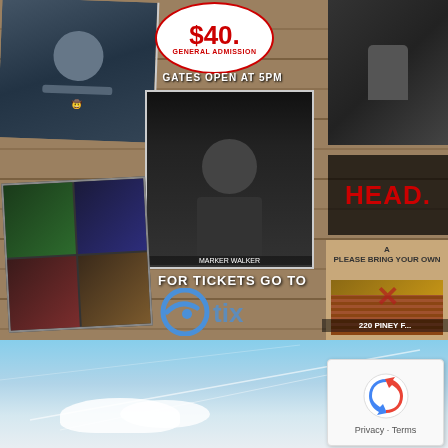[Figure (photo): Concert event promotional poster/flyer showing $40 general admission price, 'Gates Open at 5PM', a central photo of a bearded male guitarist performing on stage, surrounding photos of other performers, 'FOR TICKETS GO TO' and the etix logo, and '220 Piney' address. Wood plank background texture.]
[Figure (photo): Blue sky with white clouds and contrails. A reCAPTCHA widget overlay in the bottom right corner showing the reCAPTCHA logo and 'Privacy - Terms' text.]